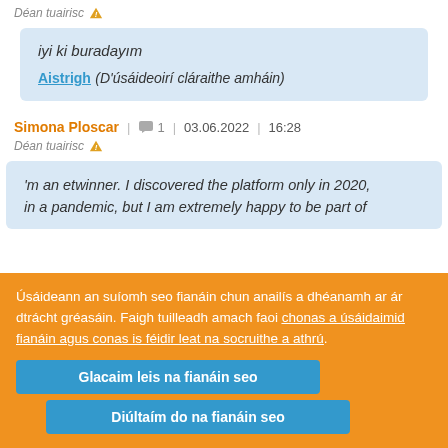Déan tuairisc ⚠
iyi ki buradayım
Aistrigh (D'úsáideoirí cláraithe amháin)
Simona Ploscar | 💬 1 | 03.06.2022 | 16:28
Déan tuairisc ⚠
'm an etwinner. I discovered the platform only in 2020, in a pandemic, but I am extremely happy to be part of
Úsáideann an suíomh seo fianáin chun anailís a dhéanamh ar ár dtrácht gréasáin. Faigh tuilleadh amach faoi chonas a úsáidaimid fianáin agus conas is féidir leat na socruithe a athrú.
Glacaim leis na fianáin seo
Diúltaím do na fianáin seo